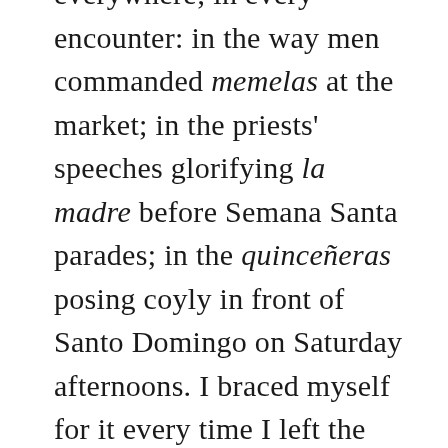everywhere; in every encounter: in the way men commanded memelas at the market; in the priests' speeches glorifying la madre before Semana Santa parades; in the quinceñeras posing coyly in front of Santo Domingo on Saturday afternoons. I braced myself for it every time I left the house. I became obsessed.